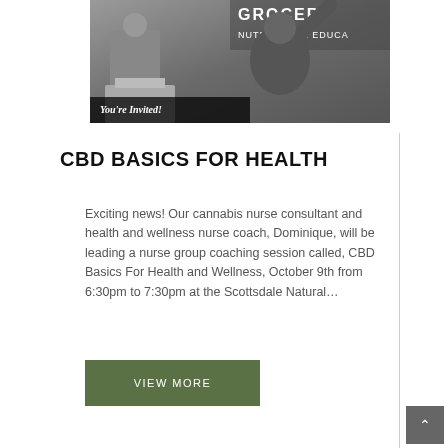[Figure (photo): Black and white photo of a man at a podium speaking, with text 'GROCER NUTRITIONAL EDUCA' visible in background and a person raising their hand in the foreground. Overlay text reads 'You're Invited!']
CBD BASICS FOR HEALTH
Exciting news! Our cannabis nurse consultant and health and wellness nurse coach, Dominique, will be  leading a nurse group coaching session called, CBD Basics For Health and Wellness, October 9th from 6:30pm to 7:30pm at the Scottsdale Natural…
VIEW MORE